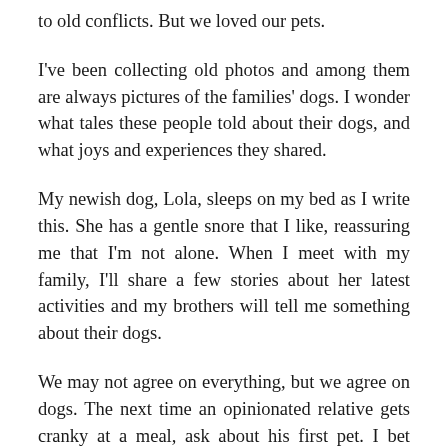to old conflicts. But we loved our pets.
I've been collecting old photos and among them are always pictures of the families' dogs. I wonder what tales these people told about their dogs, and what joys and experiences they shared.
My newish dog, Lola, sleeps on my bed as I write this. She has a gentle snore that I like, reassuring me that I'm not alone. When I meet with my family, I'll share a few stories about her latest activities and my brothers will tell me something about their dogs.
We may not agree on everything, but we agree on dogs. The next time an opinionated relative gets cranky at a meal, ask about his first pet. I bet you'll